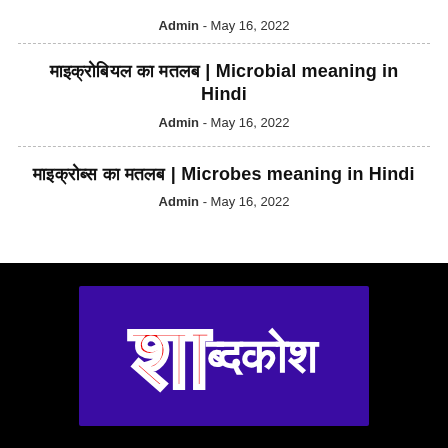Admin - May 16, 2022
माइक्रोबियल का मतलब | Microbial meaning in Hindi
Admin - May 16, 2022
माइक्रोब्स का मतलब | Microbes meaning in Hindi
Admin - May 16, 2022
[Figure (logo): Shabdkosha Hindi dictionary logo — large red Hindi letter on purple background with white Hindi text]